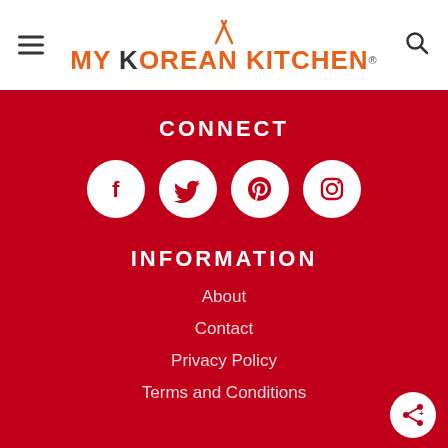[Figure (logo): My Korean Kitchen logo with chopsticks above the O in Korean, orange and dark text on white background]
CONNECT
[Figure (infographic): Four white circular social media icons on red background: Facebook, Twitter, Pinterest, Instagram]
INFORMATION
About
Contact
Privacy Policy
Terms and Conditions